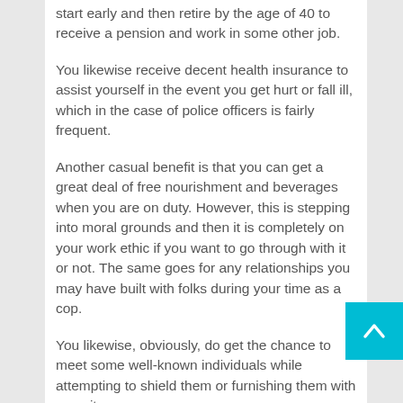start early and then retire by the age of 40 to receive a pension and work in some other job.
You likewise receive decent health insurance to assist yourself in the event you get hurt or fall ill, which in the case of police officers is fairly frequent.
Another casual benefit is that you can get a great deal of free nourishment and beverages when you are on duty. However, this is stepping into moral grounds and then it is completely on your work ethic if you want to go through with it or not. The same goes for any relationships you may have built with folks during your time as a cop.
You likewise, obviously, do get the chance to meet some well-known individuals while attempting to shield them or furnishing them with security.
The job of a police officer is hard and the pay isn't all that high. However, if you have a potent sense of fairness and the longing to protect folks, then this profession may suit you. Besides, it is an exceptionally dignified occupation, which gives you a chance to have a safe retirement and provides